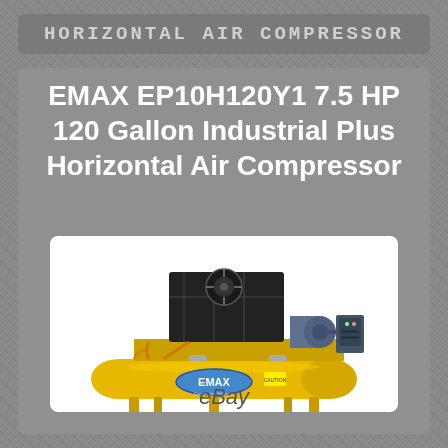HORIZONTAL AIR COMPRESSOR
EMAX EP10H120Y1 7.5 HP 120 Gallon Industrial Plus Horizontal Air Compressor
[Figure (photo): EMAX EP10H120Y1 horizontal air compressor with yellow horizontal tank, black compressor pump, motor and control panel mounted on top]
eBay